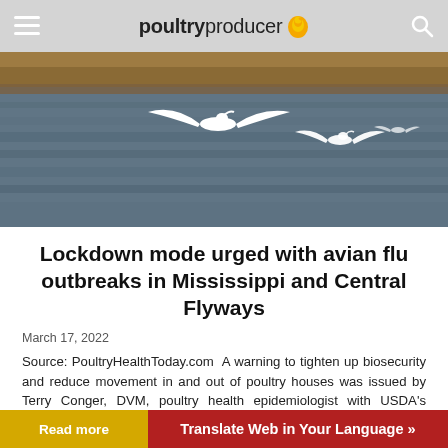poultryproducer
[Figure (photo): White swans or geese flying low over a body of water with brown reeds/grass in the background. Two large birds in flight with wings spread.]
Lockdown mode urged with avian flu outbreaks in Mississippi and Central Flyways
March 17, 2022
Source: PoultryHealthToday.com A warning to tighten up biosecurity and reduce movement in and out of poultry houses was issued by Terry Conger, DVM, poultry health epidemiologist with USDA’s Animal and Plant Health Inspection Service (APHIS). The warning came as outbreaks of…
Read more
Translate Web in Your Language »